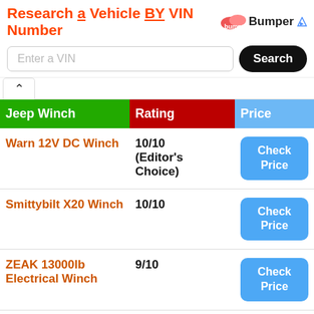Research a Vehicle BY VIN Number — Bumper
| Jeep Winch | Rating | Price |
| --- | --- | --- |
| Warn 12V DC Winch | 10/10 (Editor's Choice) | Check Price |
| Smittybilt X20 Winch | 10/10 | Check Price |
| ZEAK 13000lb Electrical Winch | 9/10 | Check Price |
| Offroad Boar 9500lb Winch for Jeep | 9/10 | Check Price |